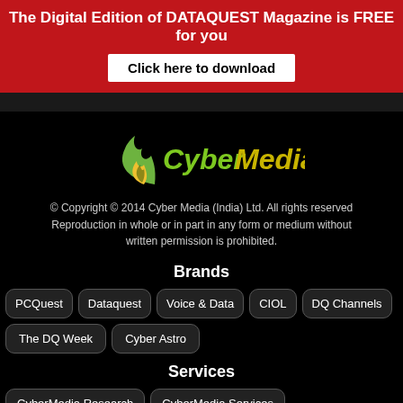The Digital Edition of DATAQUEST Magazine is FREE for you
Click here to download
[Figure (logo): CyberMedia logo with green flame icon and green/yellow 'CyberMedia' wordmark on black background]
© Copyright © 2014 Cyber Media (India) Ltd. All rights reserved Reproduction in whole or in part in any form or medium without written permission is prohibited.
Brands
PCQuest
Dataquest
Voice & Data
CIOL
DQ Channels
The DQ Week
Cyber Astro
Services
CyberMedia Research
CyberMedia Services
x